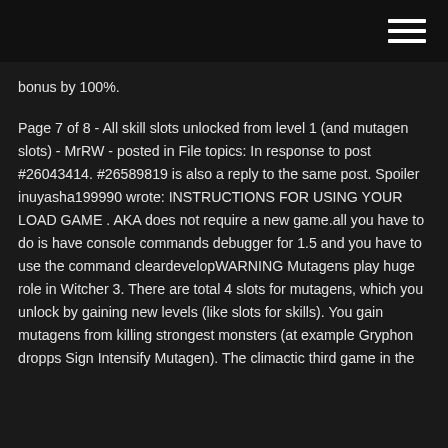bonus by 100%.
Page 7 of 8 - All skill slots unlocked from level 1 (and mutagen slots) - MrRW - posted in File topics: In response to post #26043414. #26589819 is also a reply to the same post. Spoiler inuyasha199990 wrote: INSTRUCTIONS FOR USING YOUR LOAD GAME . AKA does not require a new game.all you have to do is have console commands debugger for 1.5 and you have to use the command cleardevelopWARNING Mutagens play huge role in Witcher 3. There are total 4 slots for mutagens, which you unlock by gaining new levels (like slots for skills). You gain mutagens from killing strongest monsters (at example Gryphon dropps Sign Intensify Mutagen). The climactic third game in the